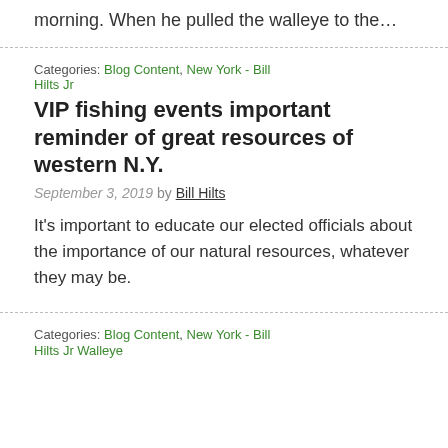morning. When he pulled the walleye to the…
Categories: Blog Content, New York - Bill Hilts Jr
VIP fishing events important reminder of great resources of western N.Y.
September 3, 2019 by Bill Hilts
It's important to educate our elected officials about the importance of our natural resources, whatever they may be.
Categories: Blog Content, New York - Bill Hilts Jr Walleye